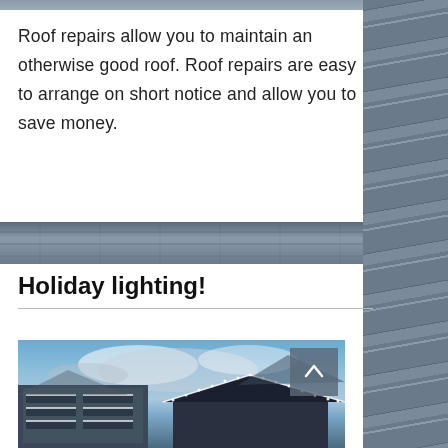[Figure (photo): Roofing shingles photo strip at top of main content area]
Roof repairs allow you to maintain an otherwise good roof. Roof repairs are easy to arrange on short notice and allow you to save money.
[Figure (photo): Middle band photo of roof shingles]
Holiday lighting!
[Figure (photo): Building with holiday lighting at night against a blue cloudy sky]
[Figure (photo): Right side column with roofing shingles texture]